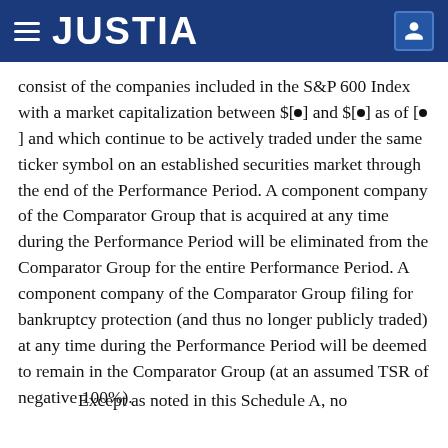JUSTIA
consist of the companies included in the S&P 600 Index with a market capitalization between $[●] and $[●] as of [●] and which continue to be actively traded under the same ticker symbol on an established securities market through the end of the Performance Period. A component company of the Comparator Group that is acquired at any time during the Performance Period will be eliminated from the Comparator Group for the entire Performance Period. A component company of the Comparator Group filing for bankruptcy protection (and thus no longer publicly traded) at any time during the Performance Period will be deemed to remain in the Comparator Group (at an assumed TSR of negative 100%).
Except as noted in this Schedule A, no adjustments for extraordinary items shall be made.